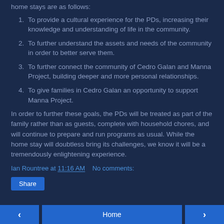home stays are as follows:
To provide a cultural experience for the PDs, increasing their knowledge and understanding of life in the community.
To further understand the assets and needs of the community in order to better serve them.
To further connect the community of Cedro Galan and Manna Project, building deeper and more personal relationships.
To give families in Cedro Galan an opportunity to support Manna Project.
In order to further these goals, the PDs will be treated as part of the family rather than as guests, complete with household chores, and will continue to prepare and run programs as usual. While the home stay will doubtless bring its challenges, we know it will be a tremendously enlightening experience.
Ian Rountree at 11:16 AM   No comments:
Share
◄  Home  ►